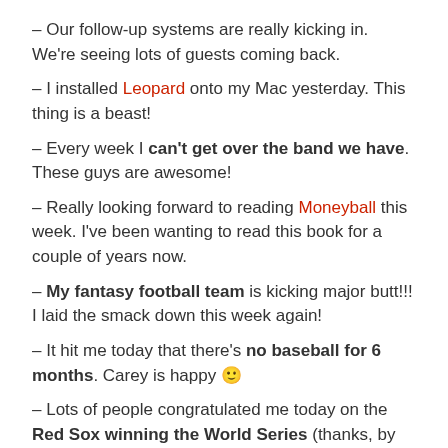– Our follow-up systems are really kicking in. We're seeing lots of guests coming back.
– I installed Leopard onto my Mac yesterday. This thing is a beast!
– Every week I can't get over the band we have. These guys are awesome!
– Really looking forward to reading Moneyball this week. I've been wanting to read this book for a couple of years now.
– My fantasy football team is kicking major butt!!! I laid the smack down this week again!
– It hit me today that there's no baseball for 6 months. Carey is happy 🙂
– Lots of people congratulated me today on the Red Sox winning the World Series (thanks, by the way)
– It's a great time to be a fan of Boston teams – Red Sox/ Patriots/ Celtics/ Boston College (even though that Florida State loss was tough – 3 INT's, come on!) For the record, I've been a fan of these teams since childhood. In fact, one of my